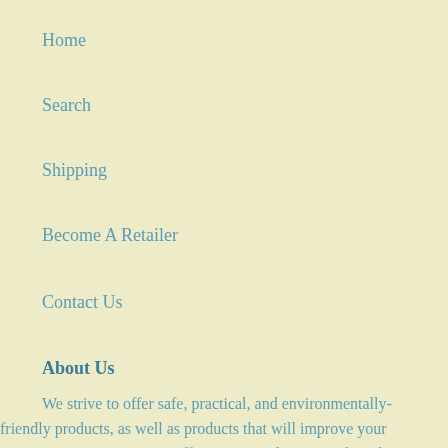Home
Search
Shipping
Become A Retailer
Contact Us
About Us
We strive to offer safe, practical, and environmentally-friendly products, as well as products that will improve your experience as a parent. We offer unique and premium brands that